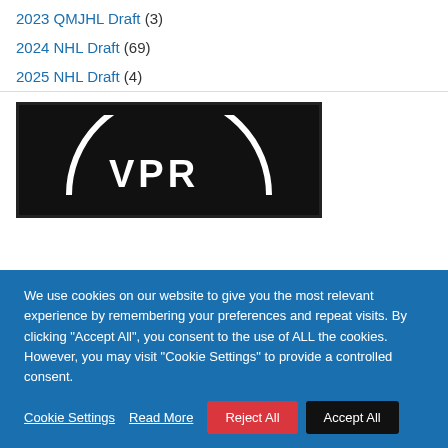2023 QMJHL Draft (3)
2024 NHL Draft (69)
2025 NHL Draft (4)
[Figure (logo): Black background with a partial white arc/logo — appears to be a hockey team or league logo (VPR or similar letters visible in white on black).]
We use cookies on our website to give you the most relevant experience by remembering your preferences and repeat visits. By clicking "Accept All", you consent to the use of ALL the cookies. However, you may visit "Cookie Settings" to provide a controlled consent.
Cookie Settings  Read More  Reject All  Accept All